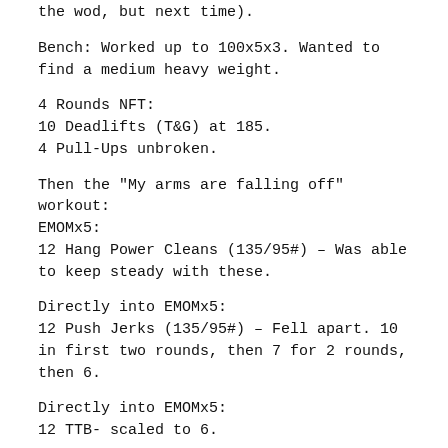the wod, but next time).
Bench: Worked up to 100x5x3. Wanted to find a medium heavy weight.
4 Rounds NFT:
10 Deadlifts (T&G) at 185.
4 Pull-Ups unbroken.
Then the "My arms are falling off" workout:
EMOMx5:
12 Hang Power Cleans (135/95#) – Was able to keep steady with these.
Directly into EMOMx5:
12 Push Jerks (135/95#) – Fell apart. 10 in first two rounds, then 7 for 2 rounds, then 6.
Directly into EMOMx5:
12 TTB- scaled to 6.